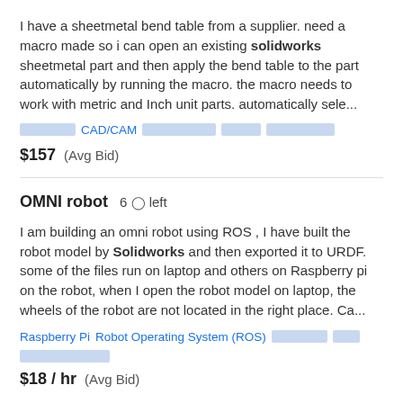I have a sheetmetal bend table from a supplier. need a macro made so i can open an existing solidworks sheetmetal part and then apply the bend table to the part automatically by running the macro. the macro needs to work with metric and Inch unit parts. automatically sele...
[blurred tag]  CAD/CAM  [blurred tag]  [blurred tag]  [blurred tag]
$157  (Avg Bid)
OMNI robot  6 days left
I am building an omni robot using ROS , I have built the robot model by Solidworks and then exported it to URDF. some of the files run on laptop and others on Raspberry pi on the robot, when I open the robot model on laptop, the wheels of the robot are not located in the right place. Ca...
Raspberry Pi  Robot Operating System (ROS)  [blurred tag]  [blurred tag]  [blurred tag]
$18 / hr  (Avg Bid)